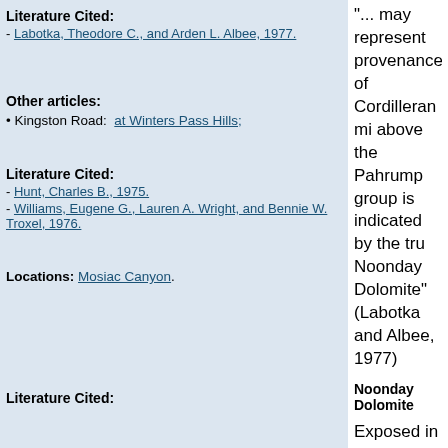"... may represent provenance of Cordilleran mi above the Pahrump group is indicated by the tru Noonday Dolomite" (Labotka and Albee, 1977)
Literature Cited:
- Labotka, Theodore C., and Arden L. Albee, 1977.
Other articles:
• Kingston Road: at Winters Pass Hills;
Noonday Dolomite
Exposed in the southern Panamint range. Williams dolomite in indistinct beds; lower part cream co Farther north, where mapped as Noonday (?) do some limestone conglomerate. Its thickness ther
Literature Cited:
- Hunt, Charles B., 1975.
- Williams, Eugene G., Lauren A. Wright, and Bennie W. Troxel, 1976.
Most of lower Mosaic Canyon is through Noon
Locations: Mosiac Canyon.
Johnnie Formation
The Johnnie Formation is "... mostly shale, in p interbedded dolomite and quartzite with pebble
Literature Cited: